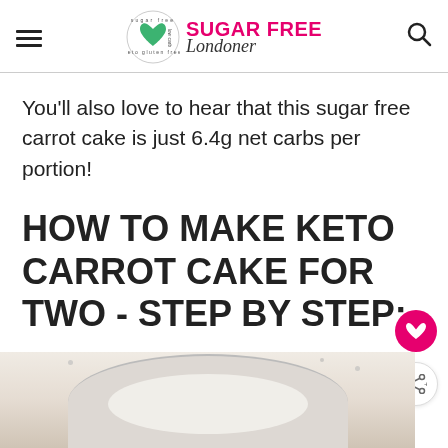SUGAR FREE Londoner
You'll also love to hear that this sugar free carrot cake is just 6.4g net carbs per portion!
HOW TO MAKE KETO CARROT CAKE FOR TWO - STEP BY STEP:
[Figure (photo): Bottom portion of a bowl with white creamy mixture, partial view at bottom of page]